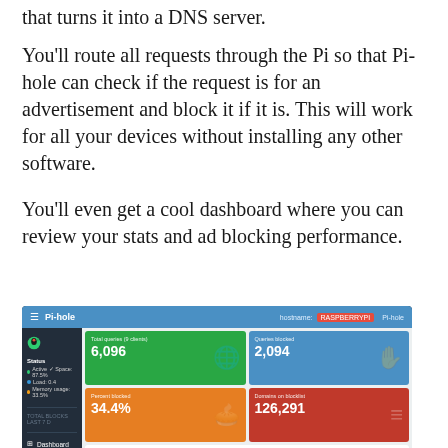that turns it into a DNS server.
You'll route all requests through the Pi so that Pi-hole can check if the request is for an advertisement and block it if it is. This will work for all your devices without installing any other software.
You'll even get a cool dashboard where you can review your stats and ad blocking performance.
[Figure (screenshot): Pi-hole admin dashboard screenshot showing stats: Total queries (6,096), Queries blocked (2,094), Percent blocked (34.4%), Domains on blocklist (126,291), and a line chart of total queries over last 24 hours.]